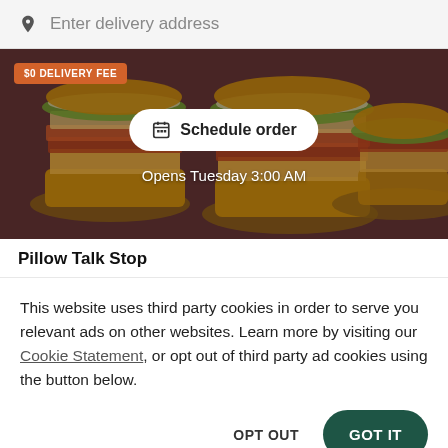Enter delivery address
[Figure (photo): Hero image of multiple stacked cheeseburgers with lettuce, tomato, and cheese on a dark background. A '$0 DELIVERY FEE' badge is in the top left. A white 'Schedule order' button is in the center. 'Opens Tuesday 3:00 AM' text appears below the button.]
Pillow Talk Stop
This website uses third party cookies in order to serve you relevant ads on other websites. Learn more by visiting our Cookie Statement, or opt out of third party ad cookies using the button below.
OPT OUT
GOT IT